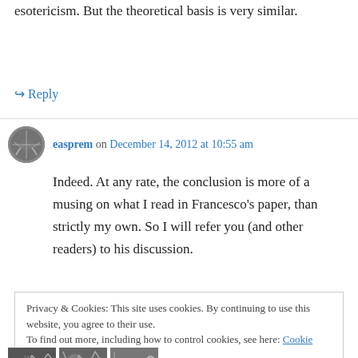esotericism. But the theoretical basis is very similar.
↳ Reply
easprem on December 14, 2012 at 10:55 am
Indeed. At any rate, the conclusion is more of a musing on what I read in Francesco's paper, than strictly my own. So I will refer you (and other readers) to his discussion.
Privacy & Cookies: This site uses cookies. By continuing to use this website, you agree to their use.
To find out more, including how to control cookies, see here: Cookie Policy
Close and accept